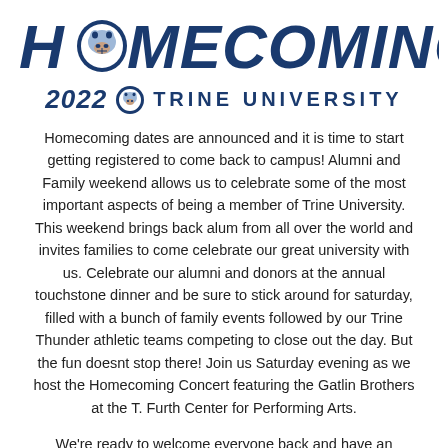[Figure (logo): Trine University 2022 Homecoming logo with mascot bulldog head replacing the 'O' in HOMECOMING, dark blue lettering, italic bold style]
Homecoming dates are announced and it is time to start getting registered to come back to campus! Alumni and Family weekend allows us to celebrate some of the most important aspects of being a member of Trine University. This weekend brings back alum from all over the world and invites families to come celebrate our great university with us. Celebrate our alumni and donors at the annual touchstone dinner and be sure to stick around for saturday, filled with a bunch of family events followed by our Trine Thunder athletic teams competing to close out the day. But the fun doesnt stop there! Join us Saturday evening as we host the Homecoming Concert featuring the Gatlin Brothers at the T. Furth Center for Performing Arts.
We're ready to welcome everyone back and have an amazing